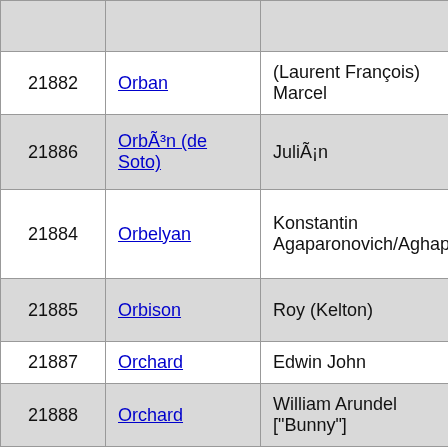| ID | Name | Given Name | Location |
| --- | --- | --- | --- |
|  |  |  | e.s.e.Ci... |
| 21882 | Orban | (Laurent François) Marcel | Liège |
| 21886 | OrbÃ³n (de Soto) | JuliÃ¡n | AvilÃ© nr GijÃ³ LeÃ³n |
| 21884 | Orbelyan | Konstantin Agaparonovich/Aghaparoni | Armavin W.Arme s.w.Echn Vaghars |
| 21885 | Orbison | Roy (Kelton) | Vernon, Falls |
| 21887 | Orchard | Edwin John | Bristol |
| 21888 | Orchard | William Arundel ["Bunny"] | Mile En... |